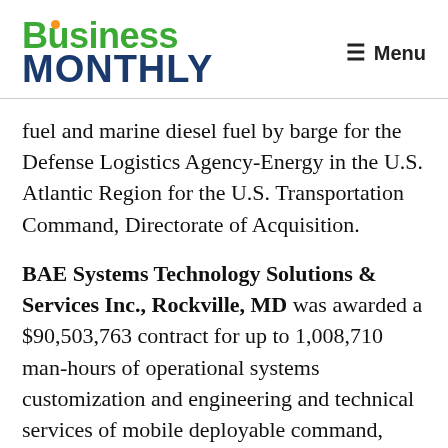Business Monthly — Menu
fuel and marine diesel fuel by barge for the Defense Logistics Agency-Energy in the U.S. Atlantic Region for the U.S. Transportation Command, Directorate of Acquisition.
BAE Systems Technology Solutions & Services Inc., Rockville, MD was awarded a $90,503,763 contract for up to 1,008,710 man-hours of operational systems customization and engineering and technical services of mobile deployable command, control, communications, computers, combat systems,